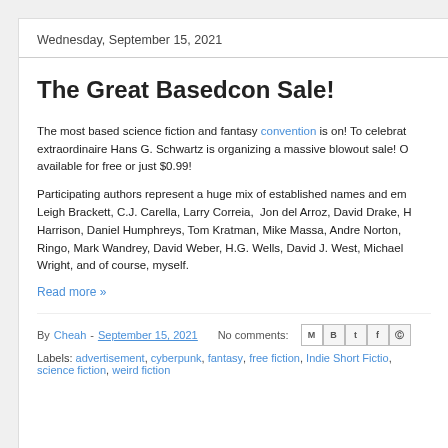Wednesday, September 15, 2021
The Great Basedcon Sale!
The most based science fiction and fantasy convention is on! To celebrate, extraordinaire Hans G. Schwartz is organizing a massive blowout sale! available for free or just $0.99!
Participating authors represent a huge mix of established names and em... Leigh Brackett, C.J. Carella, Larry Correia, Jon del Arroz, David Drake, Harrison, Daniel Humphreys, Tom Kratman, Mike Massa, Andre Norton, Ringo, Mark Wandrey, David Weber, H.G. Wells, David J. West, Michael Wright, and of course, myself.
Read more »
By Cheah - September 15, 2021  No comments:
Labels: advertisement, cyberpunk, fantasy, free fiction, Indie Short Fiction, science fiction, weird fiction